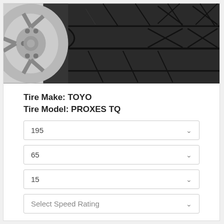[Figure (photo): Close-up photograph of a Toyo Proxes TQ tire tread with chrome wheel visible on the left side. The tire has a dark black surface with horizontal and diagonal grooves forming a sporty tread pattern.]
Tire Make: TOYO
Tire Model: PROXES TQ
195
65
15
Select Speed Rating